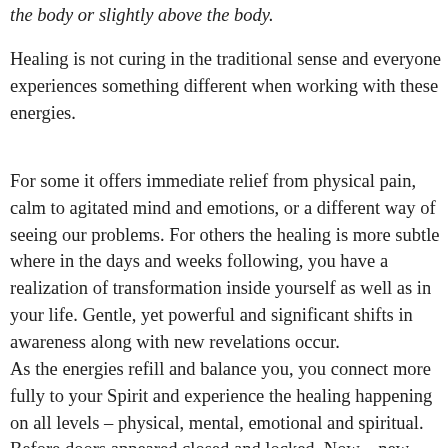the body or slightly above the body.
Healing is not curing in the traditional sense and everyone experiences something different when working with these energies.
For some it offers immediate relief from physical pain, calm to agitated mind and emotions, or a different way of seeing our problems. For others the healing is more subtle where in the days and weeks following, you have a realization of transformation inside yourself as well as in your life. Gentle, yet powerful and significant shifts in awareness along with new revelations occur.
As the energies refill and balance you, you connect more fully to your Spirit and experience the healing happening on all levels – physical, mental, emotional and spiritual. Before doors appeared closed and locked. Now – new choices are possible